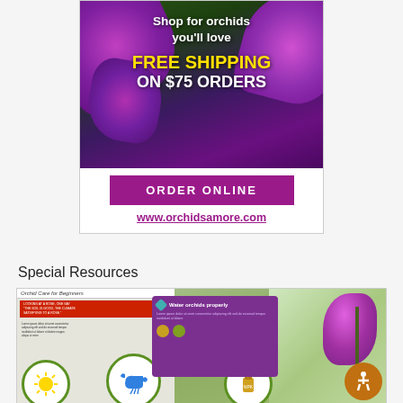[Figure (infographic): Orchid shop advertisement banner with purple orchid flowers photo background. Text reads: Shop for orchids you'll love, FREE SHIPPING, ON $75 ORDERS, ORDER ONLINE button, www.orchidsamore.com]
Special Resources
[Figure (screenshot): Screenshot of an orchid care infographic resource page showing 'Orchid Care for Beginners' document with purple card 'Water orchids properly', circular icons for sun, watering can, and fertilizer, and an accessibility icon in the bottom right corner.]